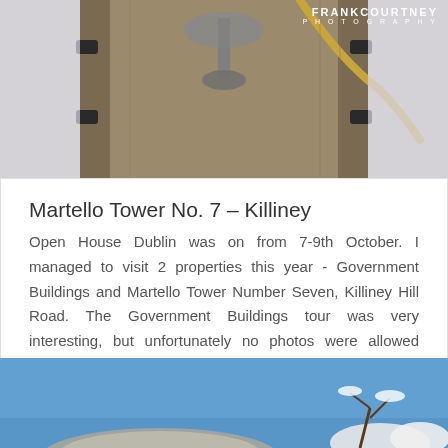[Figure (photo): Photograph of a wooden boat interior with an anchor or metal fixture, rope visible, snowy/blue background, with FRANKCOURTNEY PHOTOGRAPHY watermark]
Martello Tower No. 7 – Killiney
Open House Dublin was on from 7-9th October. I managed to visit 2 properties this year - Government Buildings and Martello Tower Number Seven, Killiney Hill Road. The Government Buildings tour was very interesting, but unfortunately no photos were allowed inside.The…
read more
[Figure (photo): Photograph of a snowy winter scene with blue sky and snow-covered branches/shrubs in the lower portion]